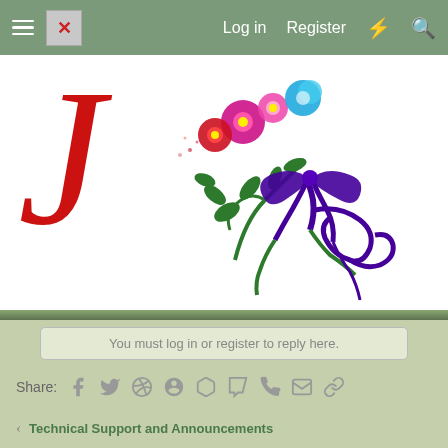Log in  Register
[Figure (illustration): Website logo/banner showing a red cursive letter J on the left and colorful floral decorative illustration with purple bow/ribbon and colorful flowers on white background]
You must log in or register to reply here.
Share:
Technical Support and Announcements
[Figure (photo): Footer background photo of dense ornamental grass or yucca plants with green and white striped leaves, partially overlaid with semi-transparent footer text]